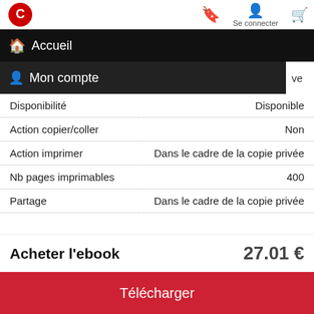Accueil
Mon compte | Se connecter | ve
| Disponibilité | Disponible |
| Action copier/coller | Non |
| Action imprimer | Dans le cadre de la copie privée |
| Nb pages imprimables | 400 |
| Partage | Dans le cadre de la copie privée |
| Nb Partage | 6 appareils |
| Poids | 3 492 Ko |
| Distributeur | Numilog |
Acheter l'ebook   27.01 €
Télécharger